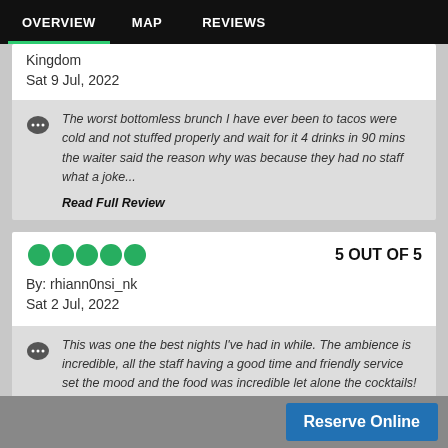OVERVIEW   MAP   REVIEWS
Kingdom
Sat 9 Jul, 2022
The worst bottomless brunch I have ever been to tacos were cold and not stuffed properly and wait for it 4 drinks in 90 mins the waiter said the reason why was because they had no staff what a joke...
Read Full Review
5 OUT OF 5
By: rhiann0nsi_nk
Sat 2 Jul, 2022
This was one the best nights I've had in while. The ambience is incredible, all the staff having a good time and friendly service set the mood and the food was incredible let alone the cocktails! We
Reserve Online